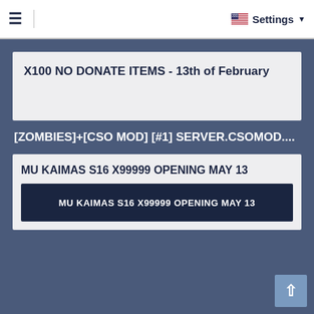≡   Settings ▾
X100 NO DONATE ITEMS - 13th of February
[ZOMBIES]+[CSO MOD] [#1] SERVER.CSOMOD....
MU KAIMAS S16 X99999 OPENING MAY 13
MU KAIMAS S16 X99999 OPENING MAY 13